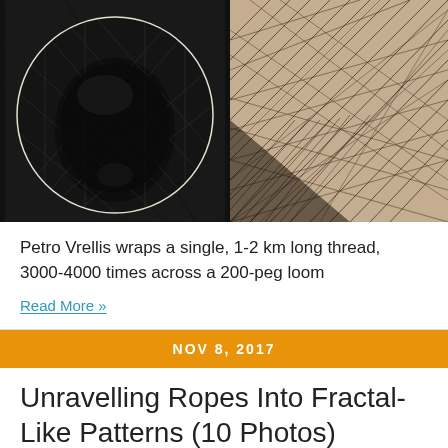[Figure (photo): Left: A circular dark portrait formed by wrapped threads showing a face. Right: Close-up of crossing thread patterns on a loom with diagonal lines.]
Petro Vrellis wraps a single, 1-2 km long thread, 3000-4000 times across a 200-peg loom
Read More »
NOV 8, 2017
Unravelling Ropes Into Fractal-Like Patterns (10 Photos)